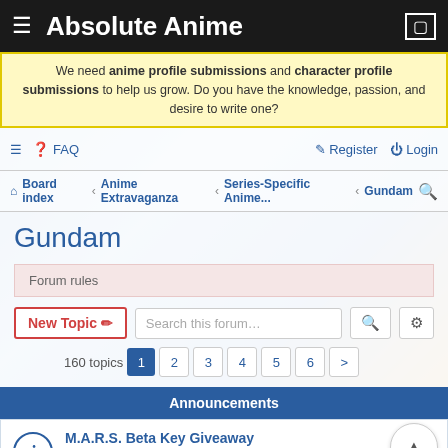Absolute Anime
We need anime profile submissions and character profile submissions to help us grow. Do you have the knowledge, passion, and desire to write one?
FAQ  Register  Login
Board index · Anime Extravaganza · Series-Specific Anime... · Gundam
Gundam
Forum rules
New Topic  Search this forum...  160 topics  1 2 3 4 5 6 >
Announcements
M.A.R.S. Beta Key Giveaway
Last post by piyushbund77 « Aug 10, 2022 2:50am
Posted in Anime News & Press Releases
Replies: 3
Blast from the past: pre-crash forums restored... mostl